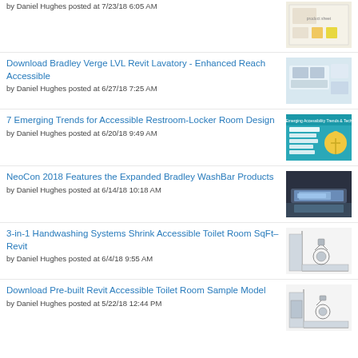by Daniel Hughes posted at 7/23/18 6:05 AM
Download Bradley Verge LVL Revit Lavatory - Enhanced Reach Accessible
by Daniel Hughes posted at 6/27/18 7:25 AM
7 Emerging Trends for Accessible Restroom-Locker Room Design
by Daniel Hughes posted at 6/20/18 9:49 AM
NeoCon 2018 Features the Expanded Bradley WashBar Products
by Daniel Hughes posted at 6/14/18 10:18 AM
3-in-1 Handwashing Systems Shrink Accessible Toilet Room SqFt–Revit
by Daniel Hughes posted at 6/4/18 9:55 AM
Download Pre-built Revit Accessible Toilet Room Sample Model
by Daniel Hughes posted at 5/22/18 12:44 PM